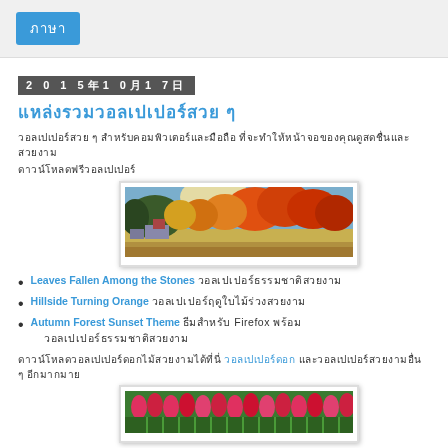ภาษา
2015年10月17日
แหล่งรวมวอลเปเปอร์สวย ๆ
วอลเปเปอร์สวย ๆ สำหรับคอมพิวเตอร์และมือถือ ที่จะทำให้หน้าจอของคุณดูสดชื่นและสวยงาม
ดาวน์โหลดฟรีวอลเปเปอร์
[Figure (photo): Autumn landscape with orange and red trees and farm buildings]
Leaves Fallen Among the Stones วอลเปเปอร์ธรรมชาติสวยงาม
Hillside Turning Orange วอลเปเปอร์ฤดูใบไม้ร่วงสวยงาม
Autumn Forest Sunset Theme ธีมสำหรับ Firefox พร้อมวอลเปเปอร์ธรรมชาติสวยงาม
ดาวน์โหลดวอลเปเปอร์ดอกไม้สวยงามได้ที่นี่ และวอลเปเปอร์สวยงามอื่น ๆ อีกมากมาย
[Figure (photo): Field of pink and red tulips]